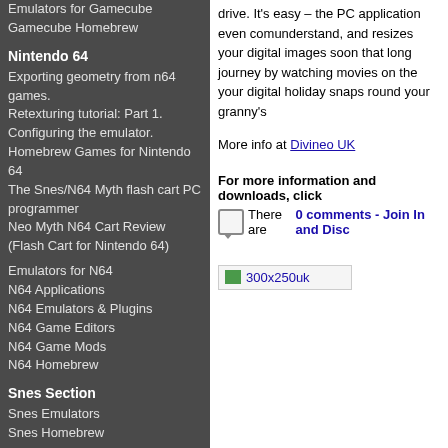Emulators for Gamecube Gamecube Homebrew
Nintendo 64
Exporting geometry from n64 games.
Retexturing tutorial: Part 1. Configuring the emulator.
Homebrew Games for Nintendo 64
The Snes/N64 Myth flash cart PC programmer
Neo Myth N64 Cart Review (Flash Cart for Nintendo 64)
Emulators for N64
N64 Applications
N64 Emulators & Plugins
N64 Game Editors
N64 Game Mods
N64 Homebrew
Snes Section
Snes Emulators
Snes Homebrew
NES Section
Nes Emulators
Nes Homebrew
GBA Links
GBA Roms
GBA/Nintendo Movie Player Firmware
drive. It's easy – the PC application even comes with... understand, and resizes your digital images so... on that long journey by watching movies on the... your digital holiday snaps round your granny's...
More info at Divineo UK
For more information and downloads, click
There are 0 comments - Join In and Disc...
[Figure (screenshot): Advertisement placeholder image showing 300x250uk label]